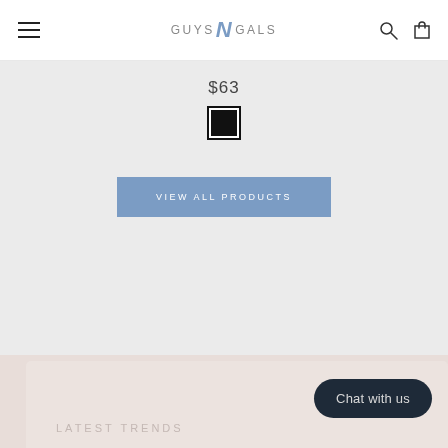GuysNGals — navigation header with hamburger menu, logo, search icon, cart icon
$63
[Figure (other): Black color swatch square with white border and black outline]
VIEW ALL PRODUCTS
LATEST TRENDS
Chat with us